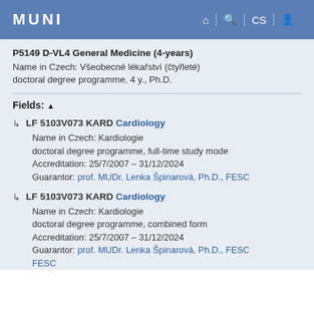MUNI
P5149 D-VL4 General Medicine (4-years)
Name in Czech: Všeobecné lékařství (čtyřleté)
doctoral degree programme, 4 y., Ph.D.
Fields: ▲
LF 5103V073 KARD Cardiology
Name in Czech: Kardiologie
doctoral degree programme, full-time study mode
Accreditation: 25/7/2007 – 31/12/2024
Guarantor: prof. MUDr. Lenka Špinarová, Ph.D., FESC
LF 5103V073 KARD Cardiology
Name in Czech: Kardiologie
doctoral degree programme, combined form
Accreditation: 25/7/2007 – 31/12/2024
Guarantor: prof. MUDr. Lenka Špinarová, Ph.D., FESC